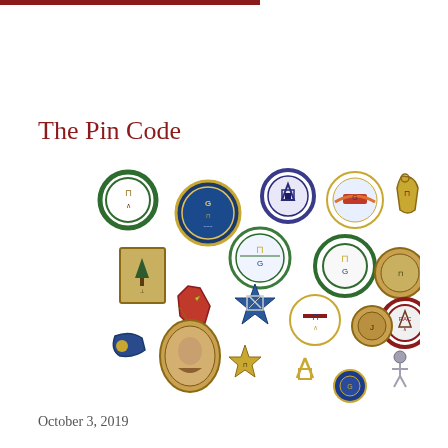The Pin Code
[Figure (photo): Collection of approximately 24 Masonic lapel pins and medallions of various shapes (circular, rectangular, star-shaped) featuring Masonic symbols such as the square and compass with G, Masonic lodge pins, and related fraternal insignia in enamel and metal finishes.]
October 3, 2019